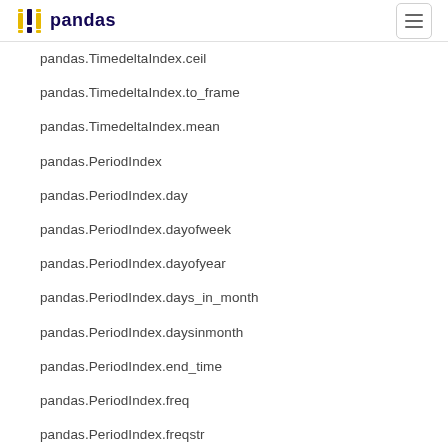pandas
pandas.TimedeltaIndex.ceil
pandas.TimedeltaIndex.to_frame
pandas.TimedeltaIndex.mean
pandas.PeriodIndex
pandas.PeriodIndex.day
pandas.PeriodIndex.dayofweek
pandas.PeriodIndex.dayofyear
pandas.PeriodIndex.days_in_month
pandas.PeriodIndex.daysinmonth
pandas.PeriodIndex.end_time
pandas.PeriodIndex.freq
pandas.PeriodIndex.freqstr
pandas.PeriodIndex.hour